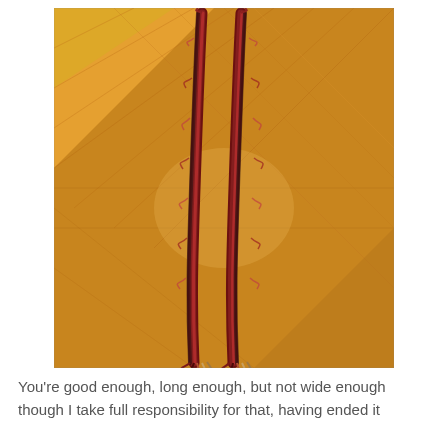[Figure (photo): A long narrow textile or scarf with red, dark brown/black, and cream colors, frayed and curly at the bottom ends, laid flat on a warm-toned hardwood parquet floor.]
You're good enough, long enough, but not wide enough though I take full responsibility for that, having ended it